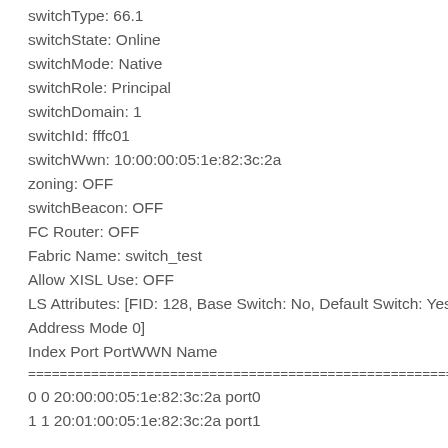switchType: 66.1
switchState: Online
switchMode: Native
switchRole: Principal
switchDomain: 1
switchId: fffc01
switchWwn: 10:00:00:05:1e:82:3c:2a
zoning: OFF
switchBeacon: OFF
FC Router: OFF
Fabric Name: switch_test
Allow XISL Use: OFF
LS Attributes: [FID: 128, Base Switch: No, Default Switch: Yes,
Address Mode 0]
Index Port PortWWN Name
=======================================================
0 0 20:00:00:05:1e:82:3c:2a port0
1 1 20:01:00:05:1e:82:3c:2a port1